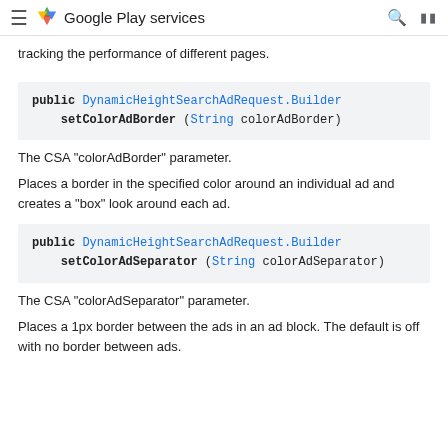Google Play services
tracking the performance of different pages.
public DynamicHeightSearchAdRequest.Builder setColorAdBorder (String colorAdBorder)
The CSA "colorAdBorder" parameter.
Places a border in the specified color around an individual ad and creates a "box" look around each ad.
public DynamicHeightSearchAdRequest.Builder setColorAdSeparator (String colorAdSeparator)
The CSA "colorAdSeparator" parameter.
Places a 1px border between the ads in an ad block. The default is off with no border between ads.